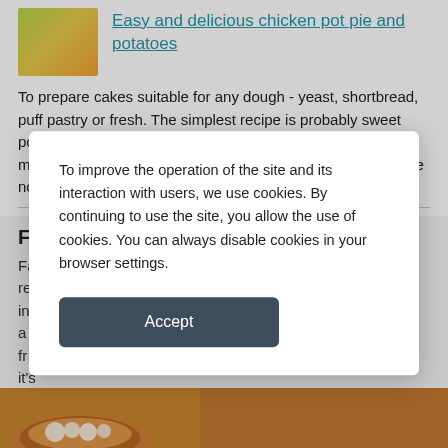[Figure (photo): Small thumbnail image with green and yellow gradient, representing a food dish photo]
Easy and delicious chicken pot pie and potatoes
To prepare cakes suitable for any dough - yeast, shortbread, puff pastry or fresh. The simplest recipe is probably sweet potato pie, which is perfect for lunch or for serving guests. It may be cooked quickly and simply. For the filling you can use no...
Fa
Fa re if in o a fr it's
To improve the operation of the site and its interaction with users, we use cookies. By continuing to use the site, you allow the use of cookies. You can always disable cookies in your browser settings.
[Figure (photo): Food image strip showing a bowl of soup or stew at the bottom of the page]